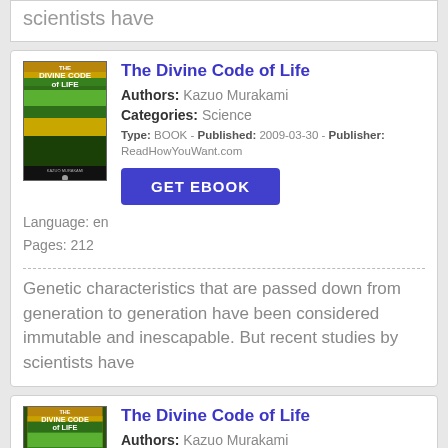scientists have
The Divine Code of Life
Authors: Kazuo Murakami
Categories: Science
Type: BOOK - Published: 2009-03-30 - Publisher: ReadHowYouWant.com
Language: en
Pages: 212
GET EBOOK
Genetic characteristics that are passed down from generation to generation have been considered immutable and inescapable. But recent studies by scientists have
The Divine Code of Life
Authors: Kazuo Murakami
Categories: Science